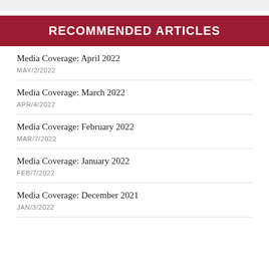RECOMMENDED ARTICLES
Media Coverage: April 2022
MAY/2/2022
Media Coverage: March 2022
APR/4/2022
Media Coverage: February 2022
MAR/7/2022
Media Coverage: January 2022
FEB/7/2022
Media Coverage: December 2021
JAN/3/2022